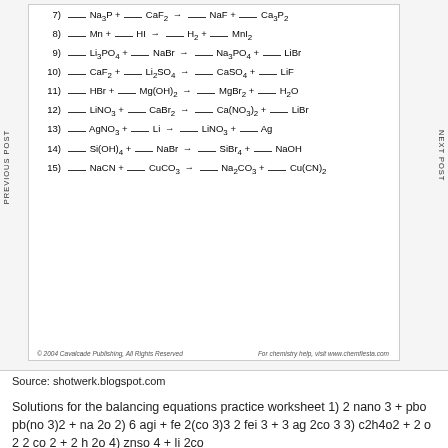7) ___ Na3P + ___ CaF2 → ___ NaF + ___ Ca3P2
8) ___ Mn + ___ HI → ___ H2 + ___ MnI2
9) ___ Li3PO4 + ___ NaBr → ___ Na3PO4 + ___ LiBr
10) ___ CaF2 + ___ Li2SO4 → ___ CaSO4 + ___ LiF
11) ___ HBr + ___ Mg(OH)2 → ___ MgBr2 + ___ H2O
12) ___ LiNO3 + ___ CaBr2 → ___ Ca(NO3)2 + ___ LiBr
13) ___ AgNO3 + ___ Li → ___ LiNO3 + ___ Ag
14) ___ Si(OH)4 + ___ NaBr → ___ SiBr4 + ___ NaOH
15) ___ NaCN + ___ CuCO3 → ___ Na2CO3 + ___ Cu(CN)2
© 2004 Cavalcade Publishing, All Rights Reserved     For chemistry help, visit www.chemfiesta.com
Source: shotwerk.blogspot.com
Solutions for the balancing equations practice worksheet 1) 2 nano 3 + pbo pb(no 3)2 + na 2o 2) 6 agi + fe 2(co 3)3 2 fei 3 + 3 ag 2co 3 3) c2h4o2 + 2 o 2 2 co 2 + 2 h 2o 4) znso 4 + li 2co